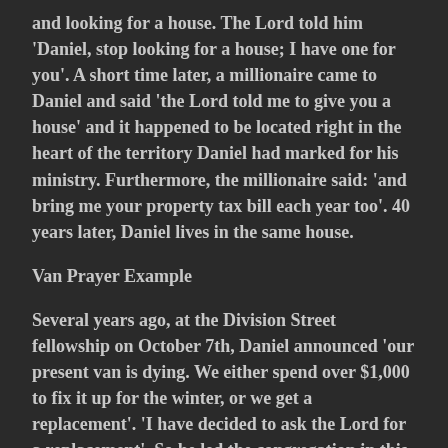and looking for a house. The Lord told him 'Daniel, stop looking for a house; I have one for you'. A short time later, a millionaire came to Daniel and said 'the Lord told me to give you a house' and it happened to be located right in the heart of the territory Daniel had marked for his ministry. Furthermore, the millionaire said: 'and bring me your property tax bill each year too'. 40 years later, Daniel lives in the same house.
Van Prayer Example
Several years ago, at the Division Street fellowship on October 7th, Daniel announced 'our present van is dying. We either spend over $1,000 to fix it up for the winter, or we get a replacement'. 'I have decided to ask the Lord for a replacement'. So he led the congregation in this prayer: 'Lord, we need a replacement van, so we are asking for a 15 seat